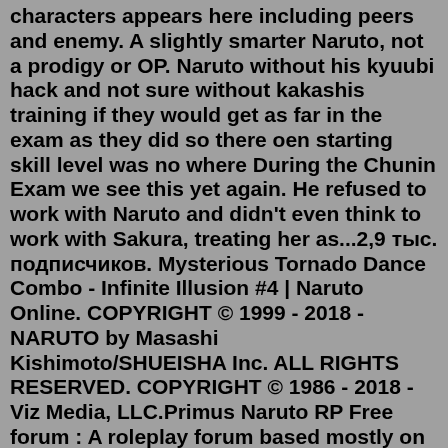characters appears here including peers and enemy. A slightly smarter Naruto, not a prodigy or OP. Naruto without his kyuubi hack and not sure without kakashis training if they would get as far in the exam as they did so there oen starting skill level was no where During the Chunin Exam we see this yet again. He refused to work with Naruto and didn't even think to work with Sakura, treating her as...2,9 тыс. подписчиков. Mysterious Tornado Dance Combo - Infinite Illusion #4 | Naruto Online. COPYRIGHT © 1999 - 2018 - NARUTO by Masashi Kishimoto/SHUEISHA Inc. ALL RIGHTS RESERVED. COPYRIGHT © 1986 - 2018 - Viz Media, LLC.Primus Naruto RP Free forum : A roleplay forum based mostly on Naruto. In this action packed rpg you could build clans, battle and chat. Go on your way from genin to kage. Chunin and Jounin exam and ect.Naruto (Japanese: NARUTO — ナルト —) is a Japanese manga series written and illustrated by Masashi Kishimoto.It tells the story of Naruto Uzumaki, a young ninja who seeks recognition from